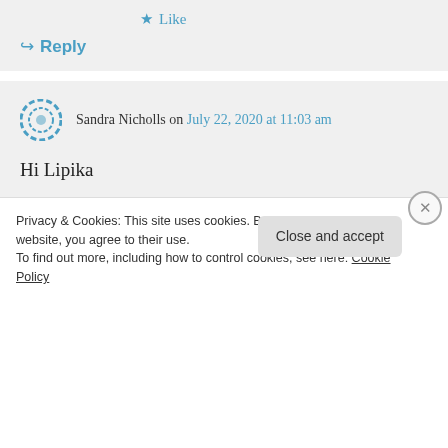★ Like
↪ Reply
Sandra Nicholls on July 22, 2020 at 11:03 am
Hi Lipika

You will not be disappointed with Janet's books as they are fantastic! She is my all time favourite author and I have read all of
Privacy & Cookies: This site uses cookies. By continuing to use this website, you agree to their use.
To find out more, including how to control cookies, see here: Cookie Policy
Close and accept